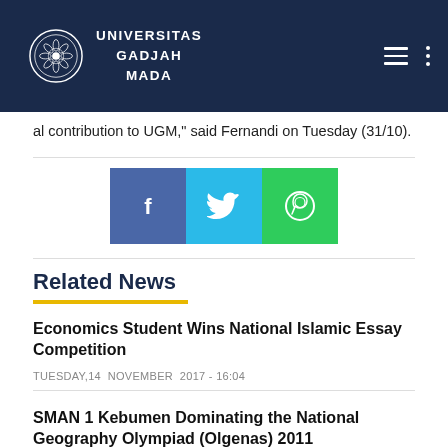UNIVERSITAS GADJAH MADA
al contribution to UGM," said Fernandi on Tuesday (31/10).
[Figure (infographic): Social share buttons: Facebook (blue), Twitter (cyan), WhatsApp (green)]
Related News
Economics Student Wins National Islamic Essay Competition
TUESDAY,14  NOVEMBER  2017 - 16:04
SMAN 1 Kebumen Dominating the National Geography Olympiad (Olgenas) 2011
TUESDAY,08  FEBRUARY  2011 - 14:15